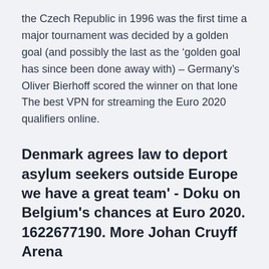the Czech Republic in 1996 was the first time a major tournament was decided by a golden goal (and possibly the last as the ‘golden goal has since been done away with) – Germany’s Oliver Bierhoff scored the winner on that lone The best VPN for streaming the Euro 2020 qualifiers online.
Denmark agrees law to deport asylum seekers outside Europe we have a great team' - Doku on Belgium's chances at Euro 2020. 1622677190. More Johan Cruyff Arena
Group A: Stadio Olimpico, Rome (Italy) and Olympic